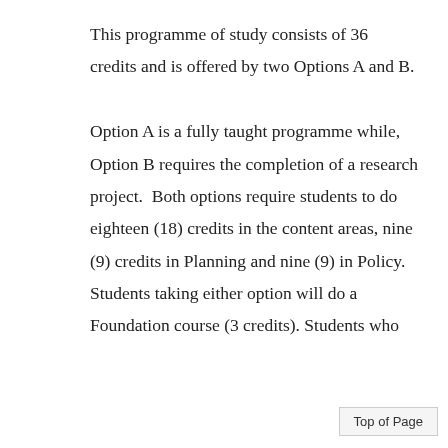This programme of study consists of 36 credits and is offered by two Options A and B.

Option A is a fully taught programme while, Option B requires the completion of a research project.  Both options require students to do eighteen (18) credits in the content areas, nine (9) credits in Planning and nine (9) in Policy. Students taking either option will do a Foundation course (3 credits). Students who